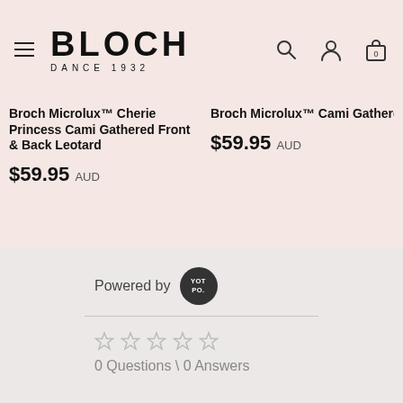BLOCH DANCE 1932
Broch Microlux™ Cherie Princess Cami Gathered Front & Back Leotard $59.95 AUD
Broch Microlux™ Cami Gathered Fr... $59.95 AUD
Powered by YOTPO.
0 Questions \ 0 Answers